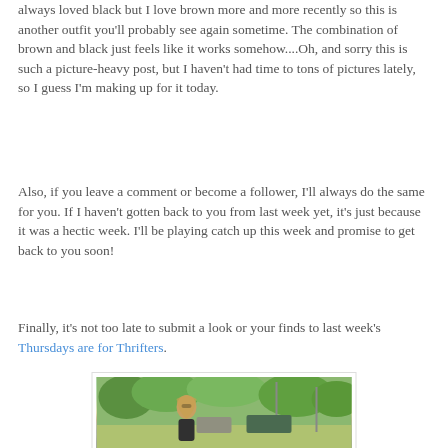always loved black but I love brown more and more recently so this is another outfit you'll probably see again sometime. The combination of brown and black just feels like it works somehow....Oh, and sorry this is such a picture-heavy post, but I haven't had time to tons of pictures lately, so I guess I'm making up for it today.
Also, if you leave a comment or become a follower, I'll always do the same for you. If I haven't gotten back to you from last week yet, it's just because it was a hectic week. I'll be playing catch up this week and promise to get back to you soon!
Finally, it's not too late to submit a look or your finds to last week's Thursdays are for Thrifters.
[Figure (photo): A young woman with long hair and sunglasses standing outdoors on a suburban street with trees and parked vehicles in the background.]